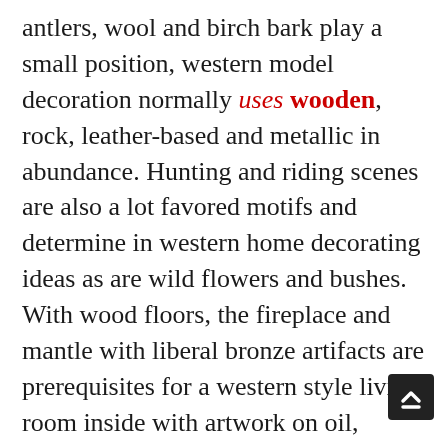antlers, wool and birch bark play a small position, western model decoration normally uses wooden, rock, leather-based and metallic in abundance. Hunting and riding scenes are also a lot favored motifs and determine in western home decorating ideas as are wild flowers and bushes. With wood floors, the fireplace and mantle with liberal bronze artifacts are prerequisites for a western style living room inside with artwork on oil, plan.lsg vintage photos and paintings. If you don't wish to design a whole house, but solely a sure feature like a porch, a specific room or the garden space, it is best to search for a selected package deal to additional save on costs. Lately it is feasible for utterly unqualified individuals to design their own house, due to the wealth of house plans available. The final design of a cool house is certain to incorporate wrap-around porches and sufficient spac… for ceiling fans…